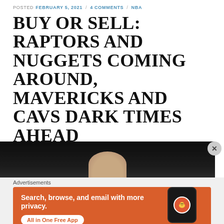POSTED FEBRUARY 5, 2021 / 4 COMMENTS / NBA
BUY OR SELL: RAPTORS AND NUGGETS COMING AROUND, MAVERICKS AND CAVS DARK TIMES AHEAD
In this week's Buy or Sell, Will explains why he's in on the Raptor and Nuggets and out on the Cavs and Mavs
[Figure (photo): Partial photo of a person against a dark background, partially visible at bottom of article content area]
[Figure (other): DuckDuckGo advertisement banner: Search, browse, and email with more privacy. All in One Free App. Shows a phone with DuckDuckGo logo.]